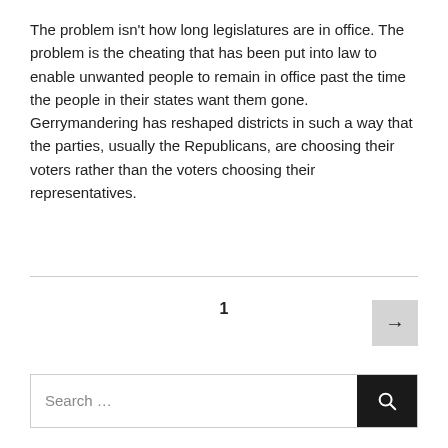The problem isn't how long legislatures are in office. The problem is the cheating that has been put into law to enable unwanted people to remain in office past the time the people in their states want them gone. Gerrymandering has reshaped districts in such a way that the parties, usually the Republicans, are choosing their voters rather than the voters choosing their representatives.
1